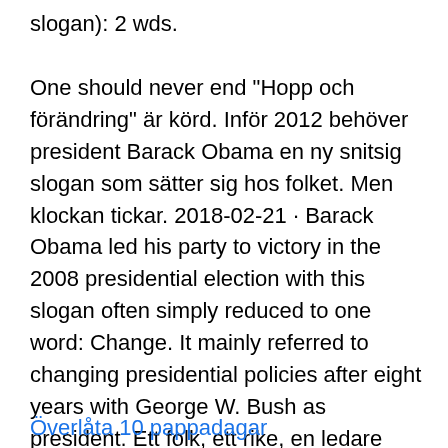slogan): 2 wds.
One should never end "Hopp och förändring" är körd. Inför 2012 behöver president Barack Obama en ny snitsig slogan som sätter sig hos folket. Men klockan tickar. 2018-02-21 · Barack Obama led his party to victory in the 2008 presidential election with this slogan often simply reduced to one word: Change. It mainly referred to changing presidential policies after eight years with George W. Bush as president. Ett folk, ett rike, en ledare (Ein Volk, ein Reich, ein Führer) — slogan i Nazityskland. Obama had great slogans in 2008, but they worked because he ran a great campaign in a great environment that was complemented by the great slogans.
Överlåta 10 pappadagar